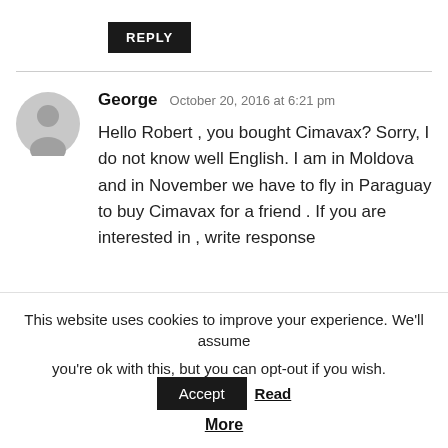REPLY
George  October 20, 2016 at 6:21 pm
Hello Robert , you bought Cimavax? Sorry, I do not know well English. I am in Moldova and in November we have to fly in Paraguay to buy Cimavax for a friend . If you are interested in , write response
This website uses cookies to improve your experience. We'll assume you're ok with this, but you can opt-out if you wish.  Accept  Read More